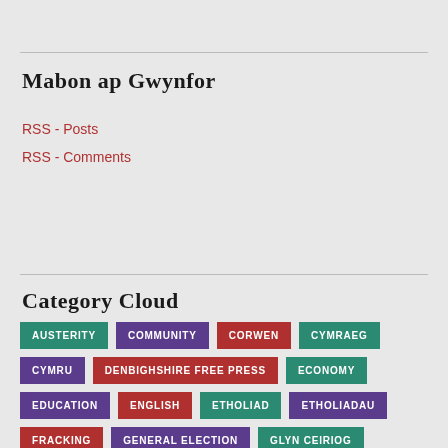Mabon ap Gwynfor
RSS - Posts
RSS - Comments
Category Cloud
AUSTERITY
COMMUNITY
CORWEN
CYMRAEG
CYMRU
DENBIGHSHIRE FREE PRESS
ECONOMY
EDUCATION
ENGLISH
ETHOLIAD
ETHOLIADAU
FRACKING
GENERAL ELECTION
GLYN CEIRIOG
GOBAITH
HEALTH
HEALTH BOARD
HEDDWCH